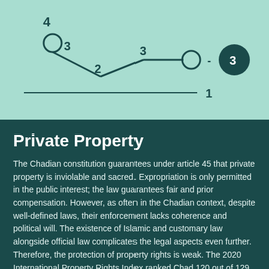[Figure (line-chart): A line chart showing property rights scores. A line goes from value 4 (open circle) down to 2, then up to 3, then extends right to open circle. A separate dark filled circle shows score of 3 on the right. A horizontal baseline at 1 is shown.]
Private Property
The Chadian constitution guarantees under article 45 that private property is inviolable and sacred. Expropriation is only permitted in the public interest; the law guarantees fair and prior compensation. However, as often in the Chadian context, despite well-defined laws, their enforcement lacks coherence and political will. The existence of Islamic and customary law alongside official law complicates the legal aspects even further. Therefore, the protection of property rights is weak. The 2020 International Property Rights Index ranked Chad 120 out of 129 countries.